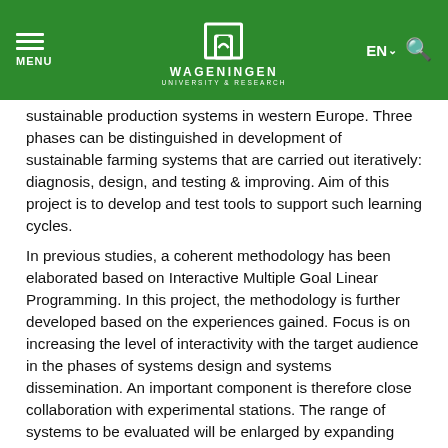MENU | WAGENINGEN UNIVERSITY & RESEARCH | EN | Search
sustainable production systems in western Europe. Three phases can be distinguished in development of sustainable farming systems that are carried out iteratively: diagnosis, design, and testing & improving. Aim of this project is to develop and test tools to support such learning cycles.
In previous studies, a coherent methodology has been elaborated based on Interactive Multiple Goal Linear Programming. In this project, the methodology is further developed based on the experiences gained. Focus is on increasing the level of interactivity with the target audience in the phases of systems design and systems dissemination. An important component is therefore close collaboration with experimental stations. The range of systems to be evaluated will be enlarged by expanding